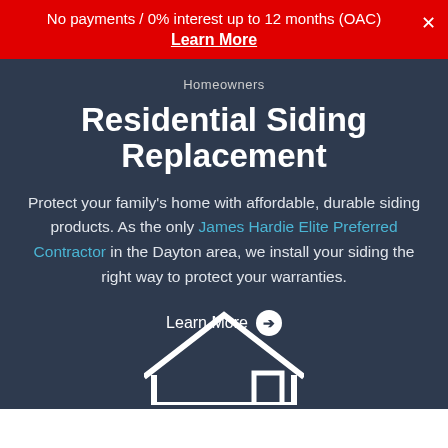No payments / 0% interest up to 12 months (OAC)
Learn More
Homeowners
Residential Siding Replacement
Protect your family's home with affordable, durable siding products. As the only James Hardie Elite Preferred Contractor in the Dayton area, we install your siding the right way to protect your warranties.
Learn More →
[Figure (illustration): White house/home icon outline at the bottom of the dark section]